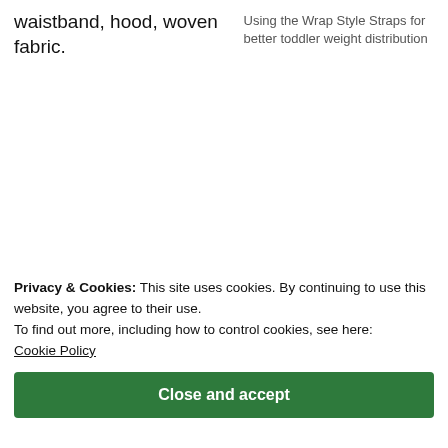waistband, hood, woven fabric.
Using the Wrap Style Straps for better toddler weight distribution
Privacy & Cookies: This site uses cookies. By continuing to use this website, you agree to their use.
To find out more, including how to control cookies, see here: Cookie Policy
Close and accept
(and thereby comfort) to both you and your child.